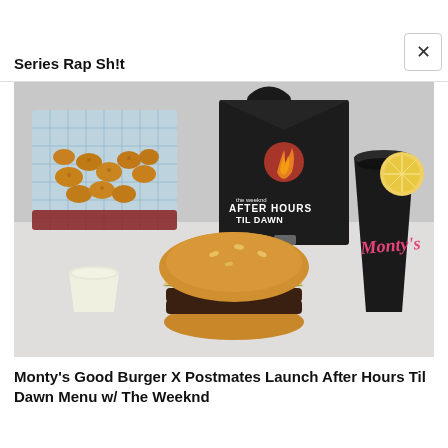Series Rap Sh!t
[Figure (photo): Food spread featuring a burger, tater tots in a red basket with blue checked paper, a black takeout box branded 'the weeknd After Hours Til Dawn' with Postmates logo, a cup of dark soda with a lemon slice branded 'Monty's', and a small cup of sauce on a light grey surface.]
Monty's Good Burger X Postmates Launch After Hours Til Dawn Menu w/ The Weeknd